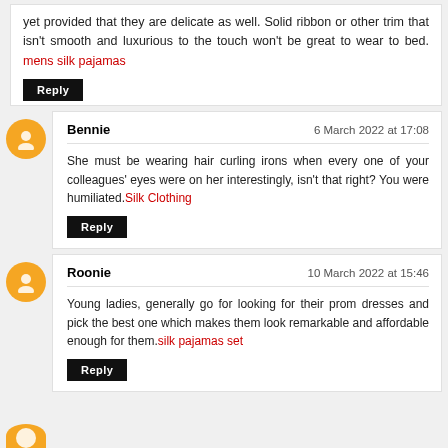yet provided that they are delicate as well. Solid ribbon or other trim that isn't smooth and luxurious to the touch won't be great to wear to bed. mens silk pajamas
Reply
Bennie · 6 March 2022 at 17:08
She must be wearing hair curling irons when every one of your colleagues' eyes were on her interestingly, isn't that right? You were humiliated. Silk Clothing
Reply
Roonie · 10 March 2022 at 15:46
Young ladies, generally go for looking for their prom dresses and pick the best one which makes them look remarkable and affordable enough for them. silk pajamas set
Reply